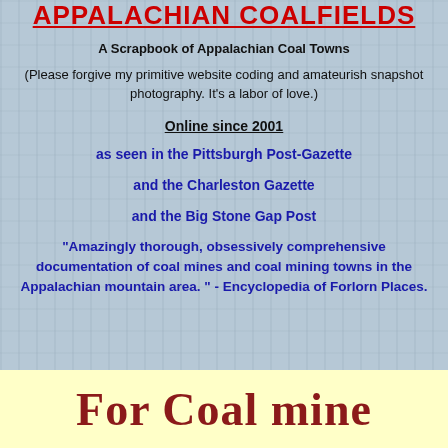APPALACHIAN COALFIELDS
A Scrapbook of Appalachian Coal Towns
(Please forgive my primitive website coding and amateurish snapshot photography. It’s a labor of love.)
Online since 2001
as seen in the Pittsburgh Post-Gazette
and the Charleston Gazette
and the Big Stone Gap Post
"Amazingly thorough, obsessively comprehensive documentation of coal mines and coal mining towns in the Appalachian mountain area. " - Encyclopedia of Forlorn Places.
For Coal mine